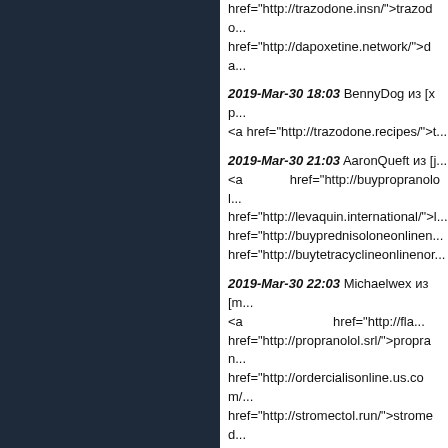href="http://trazodone.insn/">trazodone... href="http://dapoxetine.network/">da...
2019-Mar-30 18:03 BennyDog из [хр... <a href="http://trazodone.recipes/">t...
2019-Mar-30 21:03 AaronQueft из [j... <a href="http://buypropranolol... href="http://levaquin.international/">l... href="http://buyprednisoloneonlinen... href="http://buytetracyclineonlinenor...
2019-Mar-30 22:03 Michaelwex из [m... <a href="http://fla... href="http://propranolol.srl/">propran... href="http://ordercialisonline.us.com/... href="http://stromectol.run/">stromed... href="http://nolvadex2020.com/">nol... href="http://erythromycin.network/">e... href="http://kamagra2020.com/">kam... albenza</a> <a href="h... href="http://tretinoin2020.com/">treti...
2019-Mar-30 23:03 BennyDog из [са... <a href="http://buydiflucanonlinenorx...